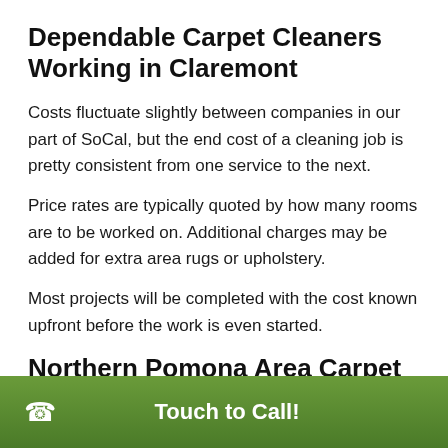Dependable Carpet Cleaners Working in Claremont
Costs fluctuate slightly between companies in our part of SoCal, but the end cost of a cleaning job is pretty consistent from one service to the next.
Price rates are typically quoted by how many rooms are to be worked on. Additional charges may be added for extra area rugs or upholstery.
Most projects will be completed with the cost known upfront before the work is even started.
Northern Pomona Area Carpet Cleaning Price Quotes
If you want your floor coverings cleaned, you can get
Touch to Call!